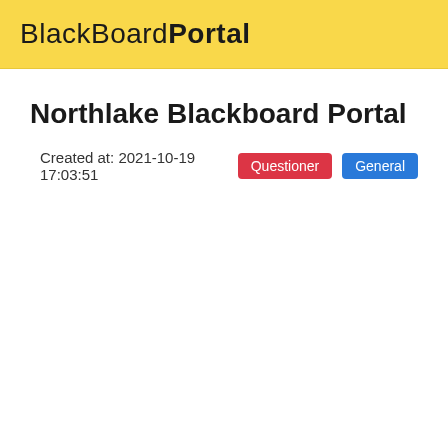BlackBoardPortal
Northlake Blackboard Portal
Created at: 2021-10-19 17:03:51  Questioner  General